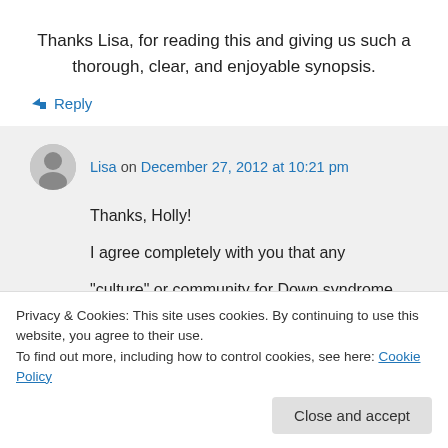Thanks Lisa, for reading this and giving us such a thorough, clear, and enjoyable synopsis.
↳ Reply
Lisa on December 27, 2012 at 10:21 pm
Thanks, Holly!
I agree completely with you that any
“culture” or community for Down syndrome
Privacy & Cookies: This site uses cookies. By continuing to use this website, you agree to their use. To find out more, including how to control cookies, see here: Cookie Policy
Close and accept
be difficult for people with intellectual